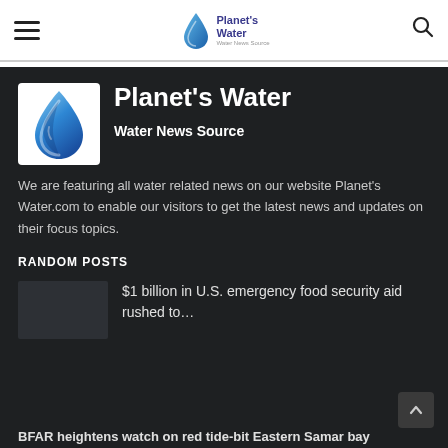Planet's Water — Water News Source (navigation header with hamburger menu and search icon)
Planet's Water
Water News Source
We are featuring all water related news on our website Planet's Water.com to enable our visitors to get the latest news and updates on their focus topics.
RANDOM POSTS
$1 billion in U.S. emergency food security aid rushed to...
BFAR heightens watch on red tide-bit Eastern Samar bay